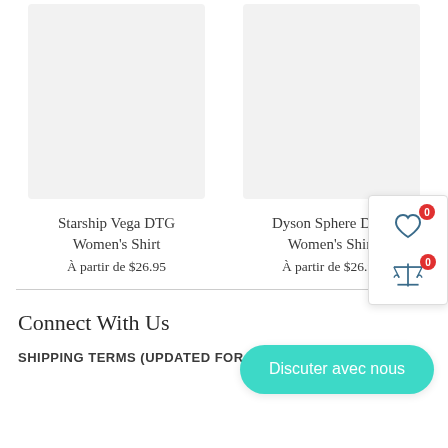[Figure (photo): Product image placeholder for Starship Vega DTG Women's Shirt - light gray rectangle]
[Figure (photo): Product image placeholder for Dyson Sphere DTG Women's Shirt - light gray rectangle]
Starship Vega DTG Women's Shirt
À partir de $26.95
Dyson Sphere DTG Women's Shirt
À partir de $26.95
[Figure (screenshot): UI overlay widget showing heart icon with badge '0' and balance/scale icon with badge '0']
Connect With Us
SHIPPING TERMS (UPDATED FOR COVID-19)
Discuter avec nous